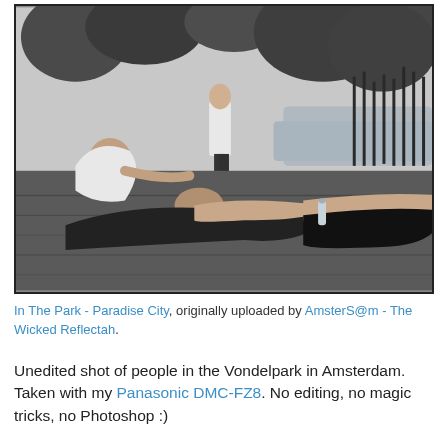[Figure (photo): Black and white photograph of people lounging on grass in a park. Several people are lying down in the foreground, one person seated wearing a white top. A person in a white shirt stands in the background near a pond with trees and reeds. A water bottle is visible on the grass.]
In The Park - Paradise City, originally uploaded by AmsterS@m - The Wicked Reflectah.
Unedited shot of people in the Vondelpark in Amsterdam. Taken with my Panasonic DMC-FZ8. No editing, no magic tricks, no Photoshop :)